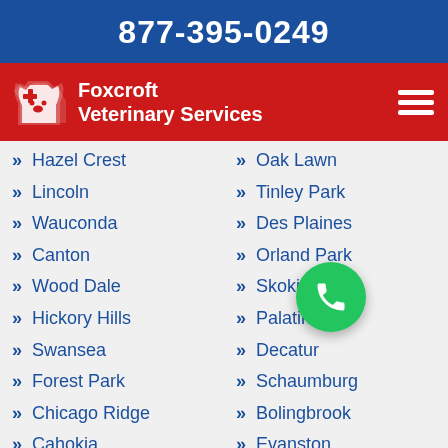877-395-0249
[Figure (logo): Foxcroft Veterinary Services logo with dog/cat silhouette and plus sign on red background, with hamburger menu icon]
Hazel Crest
Oak Lawn
Lincoln
Tinley Park
Wauconda
Des Plaines
Canton
Orland Park
Wood Dale
Skokie
Hickory Hills
Palatine
Swansea
Decatur
Forest Park
Schaumburg
Chicago Ridge
Bolingbrook
Cahokia
Evanston
Morris
Arlington Heights
Antioch
Bloomington
Lindenhurst
Cicero